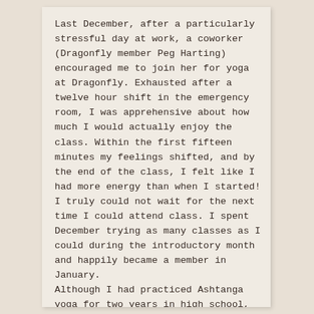Last December, after a particularly stressful day at work, a coworker (Dragonfly member Peg Harting) encouraged me to join her for yoga at Dragonfly. Exhausted after a twelve hour shift in the emergency room, I was apprehensive about how much I would actually enjoy the class. Within the first fifteen minutes my feelings shifted, and by the end of the class, I felt like I had more energy than when I started! I truly could not wait for the next time I could attend class. I spent December trying as many classes as I could during the introductory month and happily became a member in January.
Although I had practiced Ashtanga yoga for two years in high school, even teaching a few classes to Freshman as part of a leadership program during my Senior year, I didn't feel as dedicated to the practice as I do now. Back then,